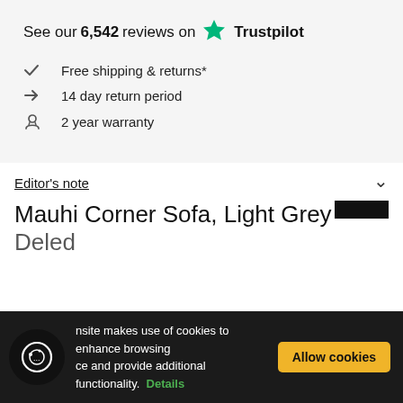See our 6,542 reviews on ★ Trustpilot
✓ Free shipping & returns*
→ 14 day return period
♤ 2 year warranty
Editor's note
Mauhi Corner Sofa, Light Grey
nsite makes use of cookies to enhance browsing ce and provide additional functionality. Details
Allow cookies